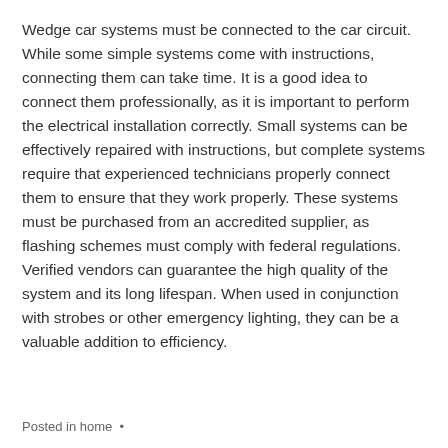Wedge car systems must be connected to the car circuit. While some simple systems come with instructions, connecting them can take time. It is a good idea to connect them professionally, as it is important to perform the electrical installation correctly. Small systems can be effectively repaired with instructions, but complete systems require that experienced technicians properly connect them to ensure that they work properly. These systems must be purchased from an accredited supplier, as flashing schemes must comply with federal regulations. Verified vendors can guarantee the high quality of the system and its long lifespan. When used in conjunction with strobes or other emergency lighting, they can be a valuable addition to efficiency.
Posted in home  •